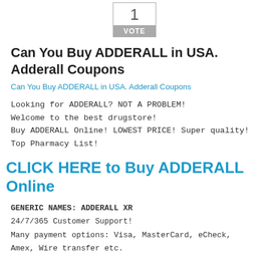[Figure (other): Vote box showing number 1 with a grey VOTE label below]
Can You Buy ADDERALL in USA. Adderall Coupons
Can You Buy ADDERALL in USA. Adderall Coupons
Looking for ADDERALL? NOT A PROBLEM!
Welcome to the best drugstore!
Buy ADDERALL Online! LOWEST PRICE! Super quality!
Top Pharmacy List!
CLICK HERE to Buy ADDERALL Online
GENERIC NAMES: ADDERALL XR
24/7/365 Customer Support!
Many payment options: Visa, MasterCard, eCheck, Amex, Wire transfer etc.